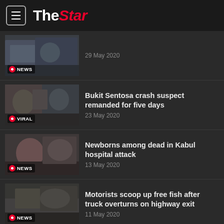The Star
29 May 2020
Bukit Sentosa crash suspect remanded for five days
23 May 2020
Newborns among dead in Kabul hospital attack
13 May 2020
Motorists scoop up free fish after truck overturns on highway exit
11 May 2020
Senior Minister: No compromise with those who spread fake news